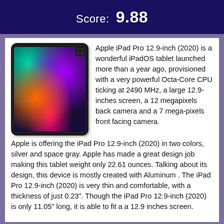Score: 9.88
[Figure (photo): Apple iPad Pro 12.9-inch (2020) product photo showing the tablet with colorful abstract wallpaper on a dark aluminum frame]
Apple iPad Pro 12.9-inch (2020) is a wonderful iPadOS tablet launched more than a year ago, provisioned with a very powerful Octa-Core CPU ticking at 2490 MHz, a large 12.9-inches screen, a 12 megapixels back camera and a 7 mega-pixels front facing camera.
Apple is offering the iPad Pro 12.9-inch (2020) in two colors, silver and space gray. Apple has made a great design job making this tablet weight only 22.61 ounces. Talking about its design, this device is mostly created with Aluminum . The iPad Pro 12.9-inch (2020) is very thin and comfortable, with a thickness of just 0.23". Though the iPad Pro 12.9-inch (2020) is only 11.05" long, it is able to fit a a 12.9 inches screen.